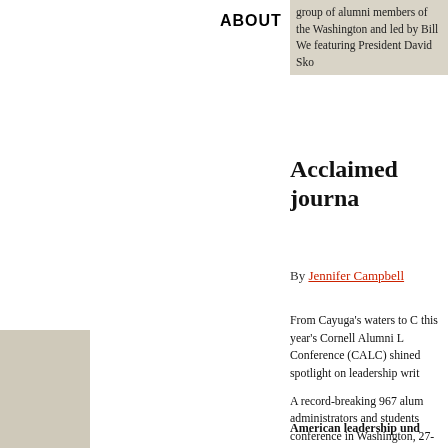ABOUT
group of alumni members of the Washington and led by Bill We featuring President David Sko
Acclaimed journa
By Jennifer Campbell
From Cayuga's waters to C this year's Cornell Alumni L Conference (CALC) shined spotlight on leadership writ
A record-breaking 967 alum administrators and students conference in Washington, 27-29. The annual event, h Office of Alumni Affairs, give from alumni classes, clubs, groups and other organizat opportunity to trade best pr about today's Cornell, parti training and network.
American leadership und